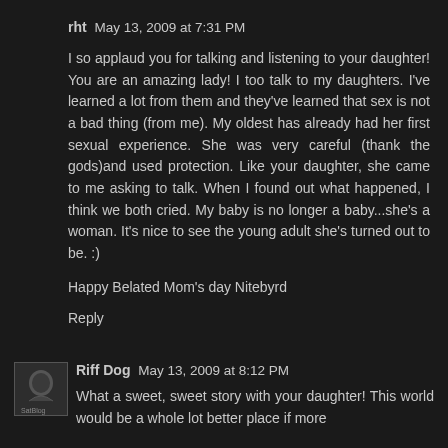rht May 13, 2009 at 7:31 PM
I so applaud you for talking and listening to your daughter! You are an amazing lady! I too talk to my daughters. I've learned a lot from them and they've learned that sex is not a bad thing (from me). My oldest has already had her first sexual experience. She was very careful (thank the gods)and used protection. Like your daughter, she came to me asking to talk. When I found out what happened, I think we both cried. My baby is no longer a baby...she's a woman. It's nice to see the young adult she's turned out to be. :)
Happy Belated Mom's day Nitebyrd
Reply
Riff Dog May 13, 2009 at 8:12 PM
What a sweet, sweet story with your daughter! This world would be a whole lot better place if more